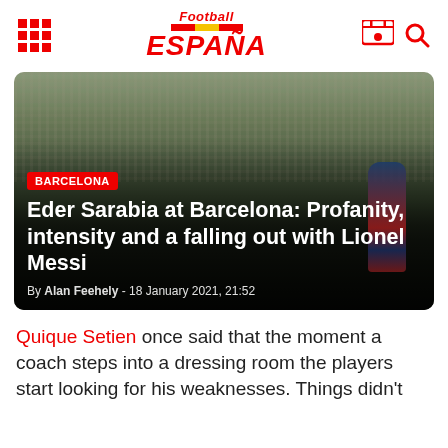Football ESPANA
[Figure (photo): Stadium crowd scene with players on pitch, Lionel Messi visible on right side in Barcelona kit]
BARCELONA
Eder Sarabia at Barcelona: Profanity, intensity and a falling out with Lionel Messi
By Alan Feehely - 18 January 2021, 21:52
Quique Setien once said that the moment a coach steps into a dressing room the players start looking for his weaknesses. Things didn't